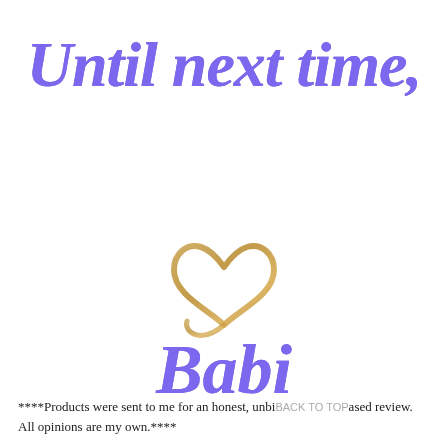Until next time,
[Figure (illustration): A golden/tan hand-drawn heart outline in the center of the page]
Babi
****Products were sent to me for an honest, unbiased review. All opinions are my own.****